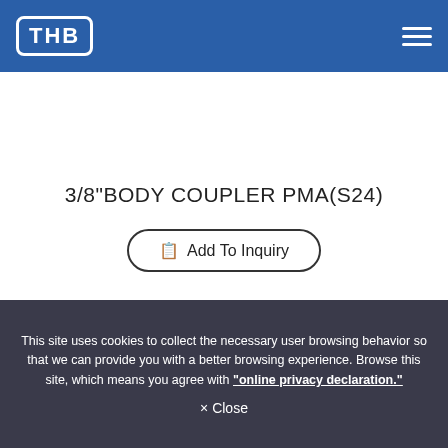THB
3/8"BODY COUPLER PMA(S24)
Add To Inquiry
This site uses cookies to collect the necessary user browsing behavior so that we can provide you with a better browsing experience. Browse this site, which means you agree with "online privacy declaration."
× Close